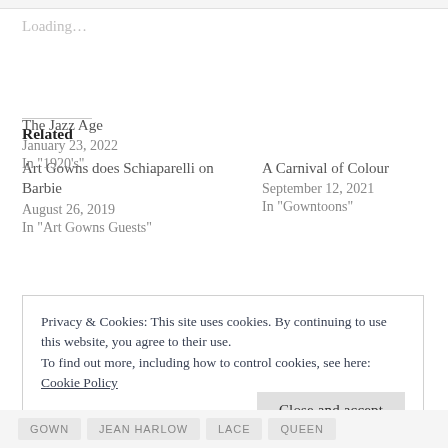Loading...
Related
Art Gowns does Schiaparelli on Barbie
August 26, 2019
In "Art Gowns Guests"
A Carnival of Colour
September 12, 2021
In "Gowntoons"
The Jazz Age
January 23, 2022
In "1920's"
Privacy & Cookies: This site uses cookies. By continuing to use this website, you agree to their use.
To find out more, including how to control cookies, see here: Cookie Policy
Close and accept
GOWN   JEAN HARLOW   LACE   QUEEN